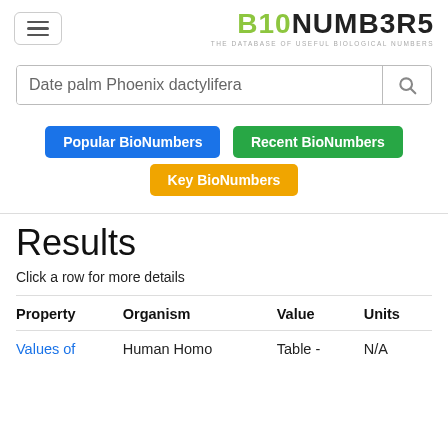B10NUMB3R5 — THE DATABASE OF USEFUL BIOLOGICAL NUMBERS
Date palm Phoenix dactylifera
Popular BioNumbers
Recent BioNumbers
Key BioNumbers
Results
Click a row for more details
| Property | Organism | Value | Units |
| --- | --- | --- | --- |
| Values of … | Human Homo … | Table - … | N/A |